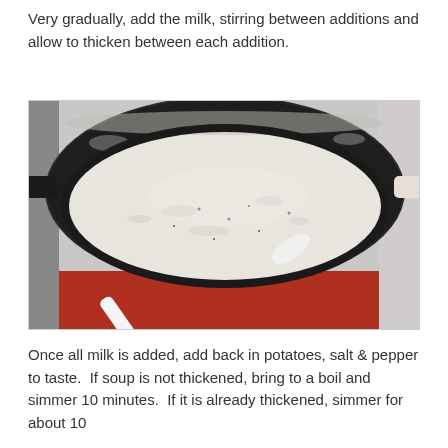Very gradually, add the milk, stirring between additions and allow to thicken between each addition.
[Figure (photo): A dark non-stick pan on a stove filled with a thick creamy white sauce, with a white spoon resting in the pan. The pan appears to be a wide, shallow braising pan or sauté pan sitting on a red burner.]
Once all milk is added, add back in potatoes, salt & pepper to taste.  If soup is not thickened, bring to a boil and simmer 10 minutes.  If it is already thickened, simmer for about 10